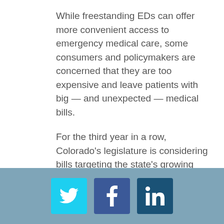While freestanding EDs can offer more convenient access to emergency medical care, some consumers and policymakers are concerned that they are too expensive and leave patients with big — and unexpected — medical bills.
For the third year in a row, Colorado's legislature is considering bills targeting the state's growing number of freestanding EDs. In the past, all of the bills have failed, but this year, legislators are taking a
[Figure (infographic): Social media share icons footer bar: Twitter (light blue), Facebook (dark blue), LinkedIn (dark navy blue)]